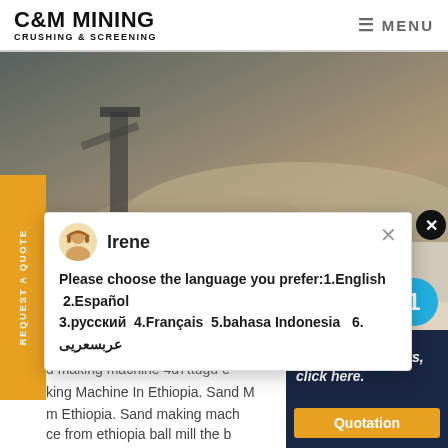C&M MINING CRUSHING & SCREENING | MENU
[Figure (photo): Mining/crushing site with large piles of gravel and machinery. Overlay text reads 'C&M Machine' in gold lettering.]
[Figure (screenshot): Chat popup dialog with avatar icon labeled 'Irene' and language selection message: 'Please choose the language you prefer:1.English 2.Español 3.русский 4.Français 5.bahasa Indonesia 6. عربسعريى']
d making machine 4d7ttugu e
king Machine In Ethiopia. Sand M
m Ethiopia. Sand making mach
ce from ethiopia ball mill the b
used in the fields of building mater
processing chemical industry ele
grind ores or other materials with
[Figure (photo): Customer service agent (woman wearing headset), with blue circle badge showing number 1, and dark blue panel with text 'Have any requests, click here.' and orange Quotation button.]